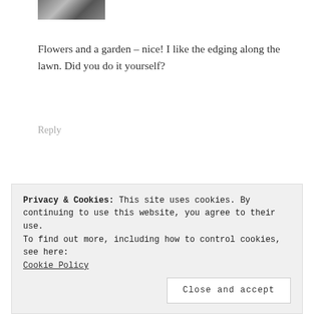[Figure (photo): Thumbnail avatar image of a person, black and white, cropped at top]
Flowers and a garden – nice! I like the edging along the lawn. Did you do it yourself?
Reply
[Figure (photo): Profile photo of a woman with gray-brown hair, smiling, wearing a light top]
KATHERINES CORNER says
MAY 30, 2018 AT 12:48 PM
Privacy & Cookies: This site uses cookies. By continuing to use this website, you agree to their use.
To find out more, including how to control cookies, see here:
Cookie Policy
Close and accept